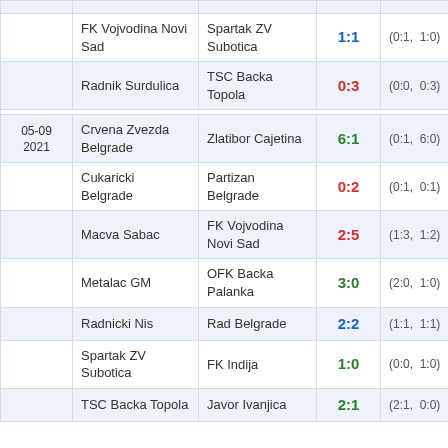| Date | Home | Away | Score | Half-time |
| --- | --- | --- | --- | --- |
|  | FK Vojvodina Novi Sad | Spartak ZV Subotica | 1:1 | (0:1,  1:0) |
|  | Radnik Surdulica | TSC Backa Topola | 0:3 | (0:0,  0:3) |
| 05-09 2021 | Crvena Zvezda Belgrade | Zlatibor Cajetina | 6:1 | (0:1,  6:0) |
|  | Cukaricki Belgrade | Partizan Belgrade | 0:2 | (0:1,  0:1) |
|  | Macva Sabac | FK Vojvodina Novi Sad | 2:5 | (1:3,  1:2) |
|  | Metalac GM | OFK Backa Palanka | 3:0 | (2:0,  1:0) |
|  | Radnicki Nis | Rad Belgrade | 2:2 | (1:1,  1:1) |
|  | Spartak ZV Subotica | FK Indija | 1:0 | (0:0,  1:0) |
|  | TSC Backa Topola | Javor Ivanjica | 2:1 | (2:1,  0:0) |